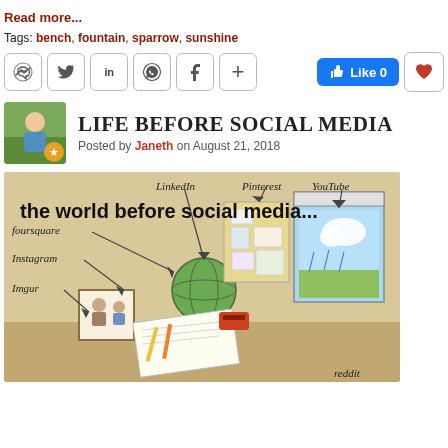Read more...
Tags: bench, fountain, sparrow, sunshine
[Figure (other): Social media sharing icons bar with messenger, twitter, linkedin, whatsapp, facebook, plus buttons, a Like 0 button, and a heart/favorite button]
LIFE BEFORE SOCIAL MEDIA
Posted by Janeth on August 21, 2018
[Figure (illustration): Illustration titled 'the world before social media...' showing a desk scene with analog equivalents of social media platforms labeled: foursquare, LinkedIn, Pinterest, YouTube, Instagram, Imgur, reddit — depicted via globes, photo frames, cork boards, windows, and paper]